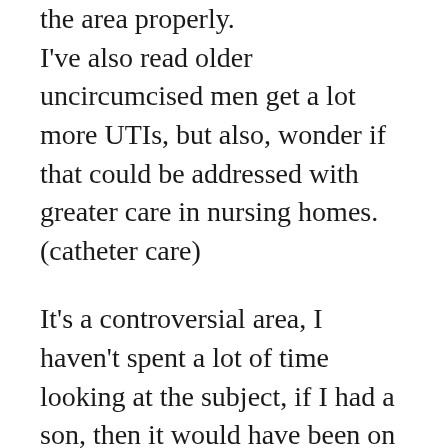the area properly. I've also read older uncircumcised men get a lot more UTIs, but also, wonder if that could be addressed with greater care in nursing homes. (catheter care)
It's a controversial area, I haven't spent a lot of time looking at the subject, if I had a son, then it would have been on my research list, along with Gardasil. I prefer to do my own